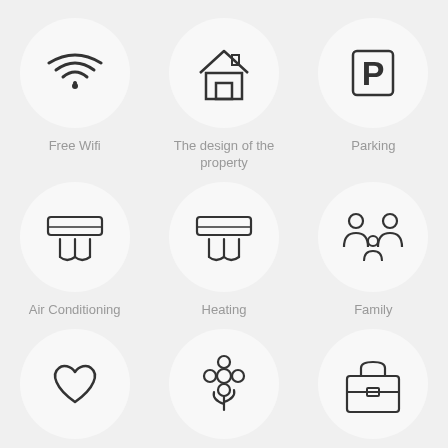[Figure (illustration): WiFi icon in a circle]
Free Wifi
[Figure (illustration): House icon in a circle]
The design of the property
[Figure (illustration): Parking P sign in a circle]
Parking
[Figure (illustration): Air conditioning unit icon in a circle]
Air Conditioning
[Figure (illustration): Air conditioning unit icon in a circle]
Heating
[Figure (illustration): Family group icon in a circle]
Family
[Figure (illustration): Heart icon in a circle]
Romantic Atmosphere
[Figure (illustration): Flower icon in a circle]
Garden
[Figure (illustration): Briefcase icon in a circle]
Business